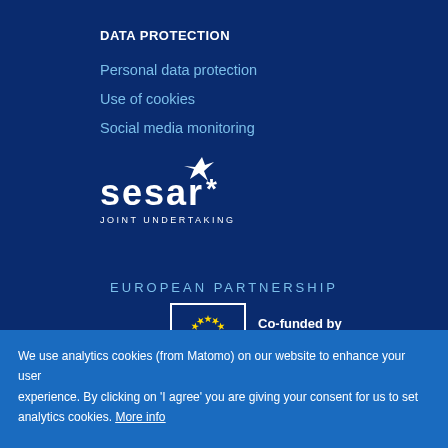DATA PROTECTION
Personal data protection
Use of cookies
Social media monitoring
[Figure (logo): SESAR Joint Undertaking logo — white text 'sesar' with a stylized star/plane mark above, and 'JOINT UNDERTAKING' in small caps below]
EUROPEAN PARTNERSHIP
[Figure (logo): EU flag circle of stars in a white-bordered box, with text 'Co-funded by the European Union' to the right]
We use analytics cookies (from Matomo) on our website to enhance your user experience. By clicking on 'I agree' you are giving your consent for us to set analytics cookies. More info